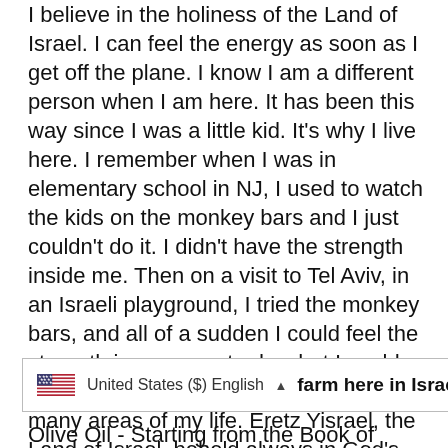I believe in the holiness of the Land of Israel. I can feel the energy as soon as I get off the plane. I know I am a different person when I am here. It has been this way since I was a little kid. It's why I live here. I remember when I was in elementary school in NJ, I used to watch the kids on the monkey bars and I just couldn't do it. I didn't have the strength inside me. Then on a visit to Tel Aviv, in an Israeli playground, I tried the monkey bars, and all of a sudden I could feel the strength in my arms to do what I could not do before. I have seen this in so many areas of my life. Eretz Yisrael, the Land of Israel, beheld always in God's loving eyes, fills me with strength. That is why since I started Aleph Male, I really wanted to make a product that is 100% made from the Land of Israel and I am so proud it is finally here.
[Figure (other): Locale selector box showing US flag, 'United States ($) English' with up arrow, and bold text 'farm here in Israel:']
Olive Oil - Starting from the Book of Genesis we see olive used as anointing oil. It says in Psalm 133 - "How